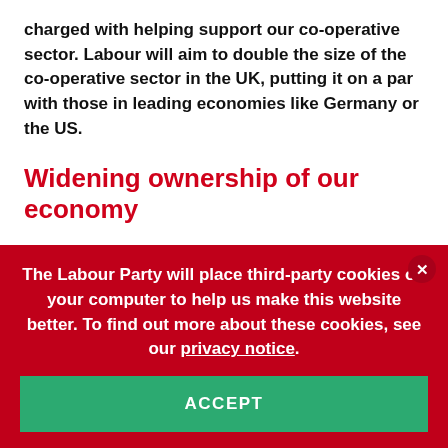charged with helping support our co-operative sector. Labour will aim to double the size of the co-operative sector in the UK, putting it on a par with those in leading economies like Germany or the US.
Widening ownership of our economy
Britain is a long-established democracy. But the distribution of ownership of the country's economy means that decisions about our economy are often made by a narrow elite. More democratic ownership structures would help our
The Labour Party will place third-party cookies on your computer to help us make this website better. To find out more about these cookies, see our privacy notice.
ACCEPT